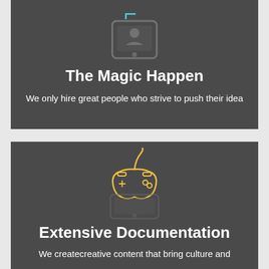[Figure (illustration): Blue outline icon of a mobile phone/tablet above a partially visible cyan bracket icon at the top]
The Magic Happen
We only hire great people who strive to push their idea
[Figure (illustration): Yellow outline game controller icon above a dark mobile phone icon]
Extensive Documentation
We createcreative content that bring culture and